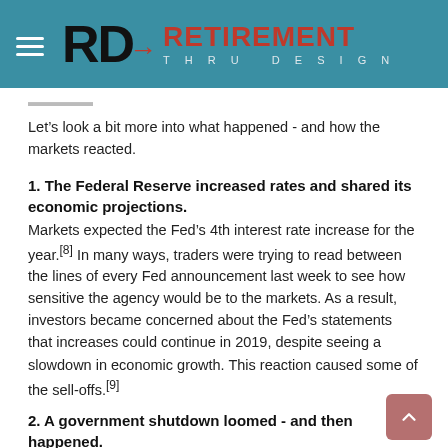RD RETIREMENT THRU DESIGN
Let’s look a bit more into what happened - and how the markets reacted.
1. The Federal Reserve increased rates and shared its economic projections.
Markets expected the Fed’s 4th interest rate increase for the year.[8] In many ways, traders were trying to read between the lines of every Fed announcement last week to see how sensitive the agency would be to the markets. As a result, investors became concerned about the Fed’s statements that increases could continue in 2019, despite seeing a slowdown in economic growth. This reaction caused some of the sell-offs.[9]
2. A government shutdown loomed - and then happened.
A disagreement between Congress and President Trump